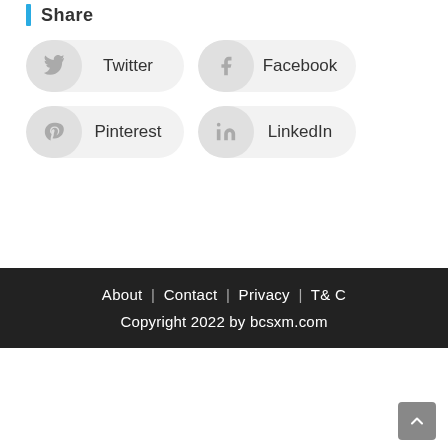Share
Twitter
Facebook
Pinterest
LinkedIn
About | Contact | Privacy | T& C
Copyright 2022 by bcsxm.com